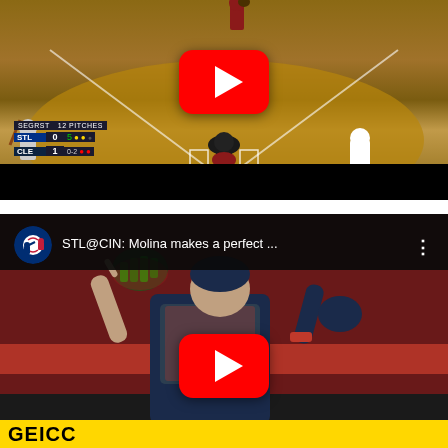[Figure (screenshot): YouTube video thumbnail of a baseball game showing a play at home plate. STL vs CLE scoreboard showing STL 0, CLE 1, count 0-2. YouTube play button overlay in center.]
[Figure (screenshot): YouTube video of STL@CIN: Molina makes a perfect play. Shows MLB logo, video title, and a catcher (Molina) looking up with glove raised. Geico advertisement banner at bottom. YouTube play button overlay in center.]